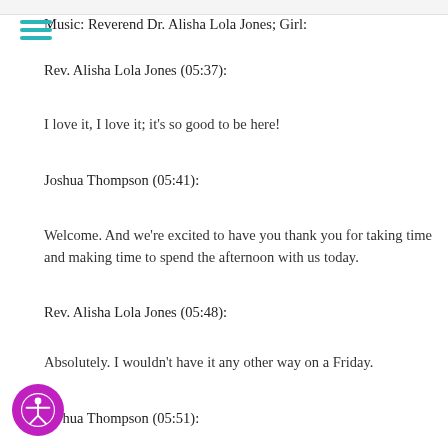Music: Reverend Dr. Alisha Lola Jones; Girl:
Rev. Alisha Lola Jones (05:37):
I love it, I love it; it's so good to be here!
Joshua Thompson (05:41):
Welcome. And we're excited to have you thank you for taking time and making time to spend the afternoon with us today.
Rev. Alisha Lola Jones (05:48):
Absolutely. I wouldn't have it any other way on a Friday.
Joshua Thompson (05:51):